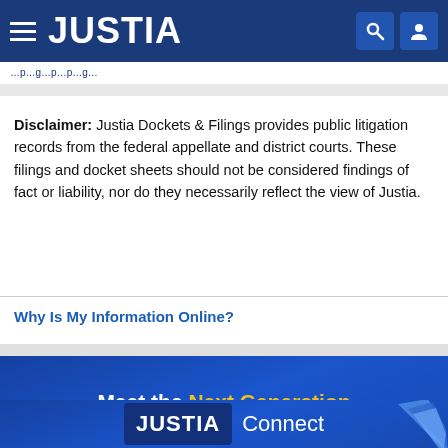JUSTIA
Disclaimer: Justia Dockets & Filings provides public litigation records from the federal appellate and district courts. These filings and docket sheets should not be considered findings of fact or liability, nor do they necessarily reflect the view of Justia.
Why Is My Information Online?
Meet the Next Generation
JUSTIA Connect